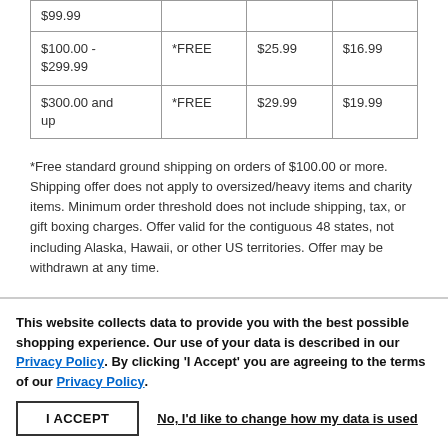| $99.99 |  |  |  |
| $100.00 -
$299.99 | *FREE | $25.99 | $16.99 |
| $300.00 and up | *FREE | $29.99 | $19.99 |
*Free standard ground shipping on orders of $100.00 or more. Shipping offer does not apply to oversized/heavy items and charity items. Minimum order threshold does not include shipping, tax, or gift boxing charges. Offer valid for the contiguous 48 states, not including Alaska, Hawaii, or other US territories. Offer may be withdrawn at any time.
This website collects data to provide you with the best possible shopping experience. Our use of your data is described in our Privacy Policy. By clicking 'I Accept' you are agreeing to the terms of our Privacy Policy.